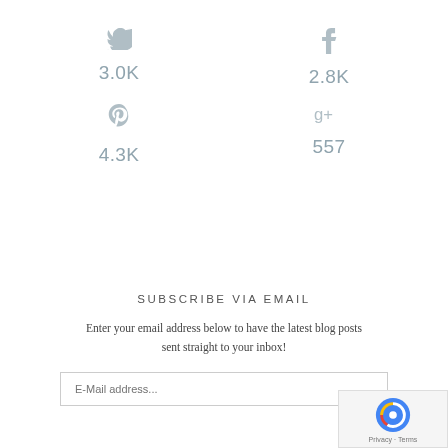[Figure (infographic): Social share counts grid: Twitter 3.0K, Facebook 2.8K, Pinterest 4.3K, Google+ 557]
SUBSCRIBE VIA EMAIL
Enter your email address below to have the latest blog posts sent straight to your inbox!
[Figure (other): E-Mail address input field placeholder text]